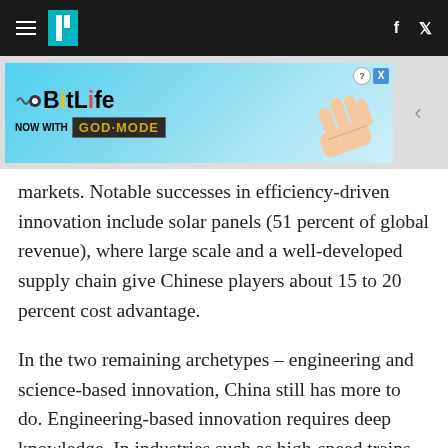HuffPost navigation bar with hamburger menu, logo, Facebook and Twitter icons
[Figure (infographic): BitLife advertisement banner: 'NOW WITH GOD MODE' with cartoon hand pointing]
markets. Notable successes in efficiency-driven innovation include solar panels (51 percent of global revenue), where large scale and a well-developed supply chain give Chinese players about 15 to 20 percent cost advantage.
In the two remaining archetypes – engineering and science-based innovation, China still has more to do. Engineering-based innovation requires deep knowledge. In industries such as high-speed trains (41 percent of global revenue), communications equipment (18 percent) and wind turbines (20 percent), Chinese companies